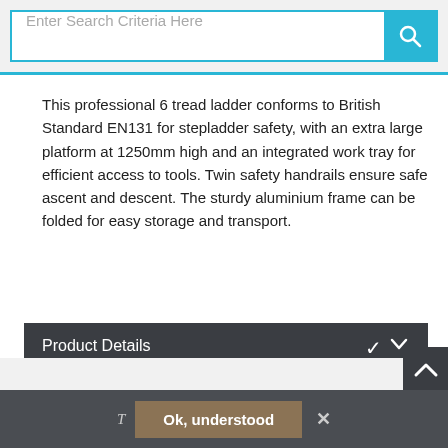[Figure (screenshot): Search bar with placeholder text 'Enter Search Criteria Here' and a cyan search button with magnifying glass icon]
This professional 6 tread ladder conforms to British Standard EN131 for stepladder safety, with an extra large platform at 1250mm high and an integrated work tray for efficient access to tools. Twin safety handrails ensure safe ascent and descent. The sturdy aluminium frame can be folded for easy storage and transport.
Product Details
People who bought this also bought
T   Ok, understood   ×